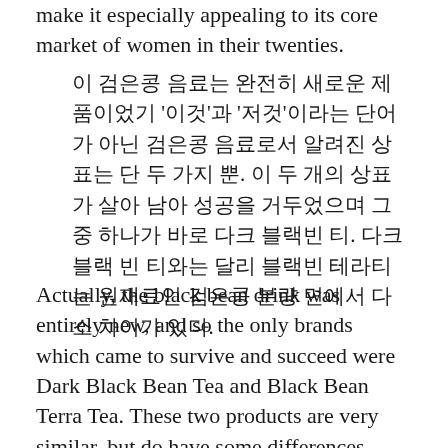make it especially appealing to its core market of women in their twenties.
이 검은콩 음료는 완전히 새로운 제품이었기 '이것'과 '저것'이라는 단어가 아닌 검은콩 음료로서 알려진 상표는 단 두 가지 뿐. 이 두 개의 상표가 살아 남아 성공을 거두었으며 그 중 하나가 바로 다크 블랙빈 티. 다크블랙 빈 티와는 달리 블랙빈 테라티는 원재료인 검은콩 분량 면에서 다소 차이가 있다.
Actually, the black bean drink was entirely new, and so the only brands which came to survive and succeed were Dark Black Bean Tea and Black Bean Terra Tea. These two products are very similar, but do have some differences. Dark Black Bean Tea is made